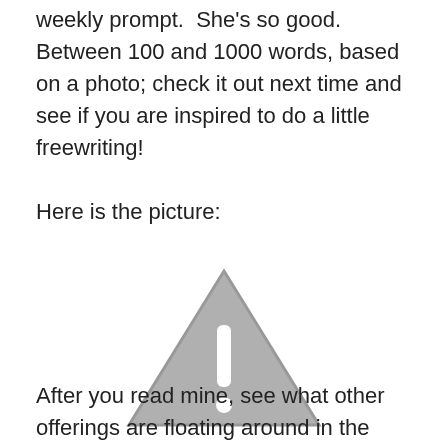weekly prompt.  She's so good.  Between 100 and 1000 words, based on a photo; check it out next time and see if you are inspired to do a little freewriting!
Here is the picture:
[Figure (illustration): A gray triangle warning/caution icon with an exclamation mark, displayed as a broken or missing image placeholder]
After you read mine, see what other offerings are floating around in the ether by clicking the picture and this is the